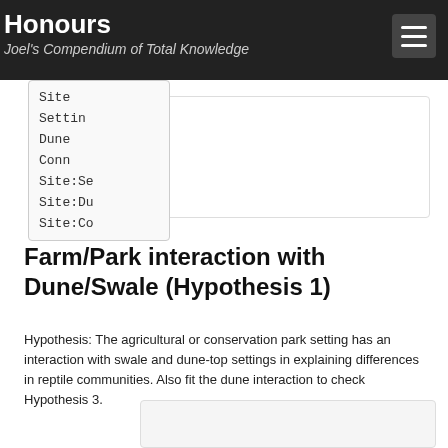Honours
Joel's Compendium of Total Knowledge
Site
Settings
Dune
Conn
Site:Se
Site:Du
Site:Co
Farm/Park interaction with Dune/Swale (Hypothesis 1)
Hypothesis: The agricultural or conservation park setting has an interaction with swale and dune-top settings in explaining differences in reptile communities. Also fit the dune interaction to check Hypothesis 3.